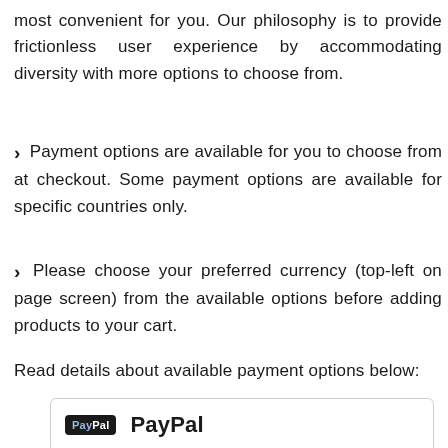most convenient for you. Our philosophy is to provide frictionless user experience by accommodating diversity with more options to choose from.
Payment options are available for you to choose from at checkout. Some payment options are available for specific countries only.
Please choose your preferred currency (top-left on page screen) from the available options before adding products to your cart.
Read details about available payment options below:
[Figure (logo): PayPal logo badge with dark background showing 'PayPal' text, followed by 'PayPal' label]